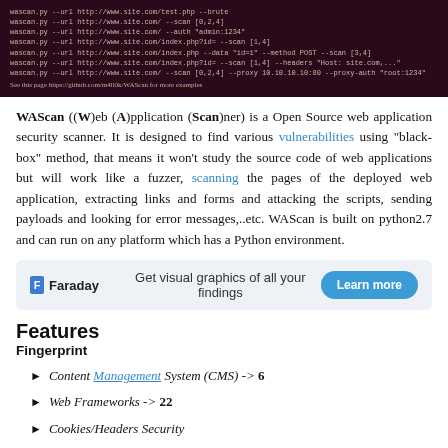[Figure (screenshot): Terminal/command-line screenshot showing WAScan tool usage examples on dark maroon background with various command options like --url, --brute, --scan, --auth, --data, --method, --headers, --proxy, --proxy-auth. Footer line references https://github.com/m4ll0k/WAScan for more examples.]
WAScan ((W)eb (A)pplication (Scan)ner) is a Open Source web application security scanner. It is designed to find various vulnerabilities using "black-box" method, that means it won't study the source code of web applications but will work like a fuzzer, scanning the pages of the deployed web application, extracting links and forms and attacking the scripts, sending payloads and looking for error messages,..etc. WAScan is built on python2.7 and can run on any platform which has a Python environment.
[Figure (infographic): Faraday advertisement banner with light blue background. Shows Faraday logo (F icon) and text: Get visual graphics of all your findings. Learn more button in teal/blue rounded rectangle.]
Features
Fingerprint
Content Management System (CMS) -> 6
Web Frameworks -> 22
Cookies/Headers Security